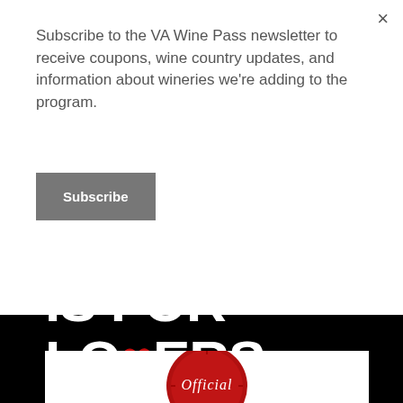Subscribe to the VA Wine Pass newsletter to receive coupons, wine country updates, and information about wineries we're adding to the program.
Subscribe
[Figure (logo): Virginia Wine logo with blue wine glass and green wavy lines beneath, with text VIRGINIA WINE in blue]
[Figure (logo): Virginia is for Lovers logo in white bold text on black background, with a red heart replacing the V in LOVERS]
[Figure (illustration): Partial view of a red wax seal with cursive script reading Official]